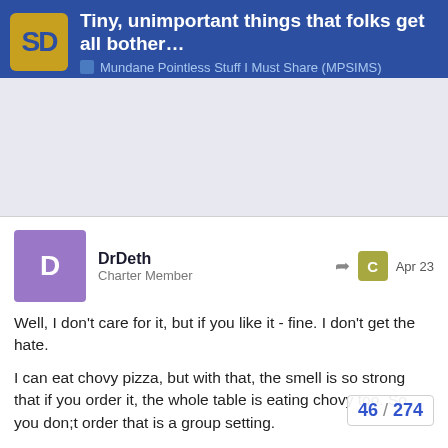Tiny, unimportant things that folks get all bother... | Mundane Pointless Stuff I Must Share (MPSIMS)
[Figure (other): Advertisement area placeholder (gray rectangle)]
DrDeth
Charter Member
Apr 23
Well, I don't care for it, but if you like it - fine. I don't get the hate.
I can eat chovy pizza, but with that, the smell is so strong that if you order it, the whole table is eating chovy too. So, you don;t order that is a group setting.
Lots of pizza toppings have fans and detractors- my spouse loves black olives, and for me too many ruin the pizza (but a few along with other toppings is tasty) and so forth.
Geez I go away and there are 26 replies, n
46 / 274